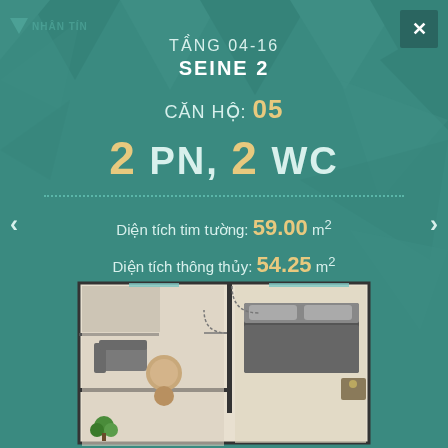NHÂN TÍN
TẦNG 04-16
SEINE 2
CĂN HỘ: 05
2 PN, 2 WC
Diện tích tim tường: 59.00 m²
Diện tích thông thủy: 54.25 m²
[Figure (illustration): Apartment floor plan showing 2-bedroom layout with living room, dining area, kitchen, 2 bedrooms and 2 bathrooms - top-down view]